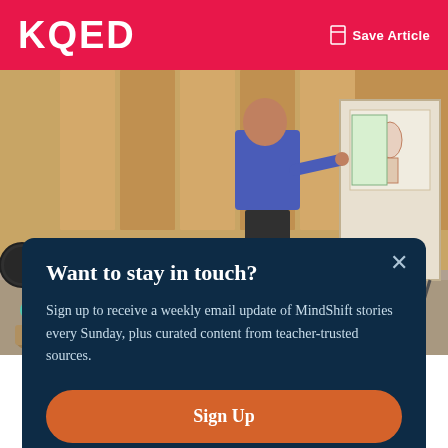KQED  Save Article
[Figure (photo): Classroom scene showing children seated on the floor facing a teacher standing at an easel/board, viewed from behind. Wood-paneled wall in background, educational posters on a display board.]
Want to stay in touch?
Sign up to receive a weekly email update of MindShift stories every Sunday, plus curated content from teacher-trusted sources.
Sign Up